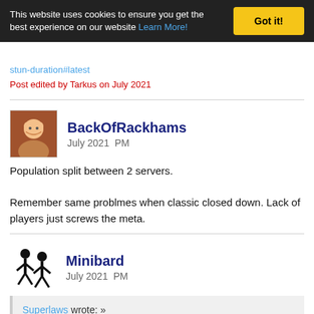This website uses cookies to ensure you get the best experience on our website Learn More! Got it!
stun-duration#latest
Post edited by Tarkus on July 2021
BackOfRackhams
July 2021  PM
Population split between 2 servers.

Remember same problmes when classic closed down. Lack of players just screws the meta.
Minibard
July 2021  PM
Superlaws wrote: »
I still don't see why they can't reduce the stun to 5 secs the same as they did for slam.